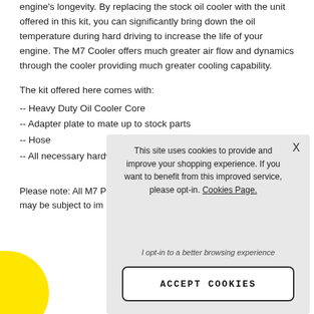engine's longevity. By replacing the stock oil cooler with the unit offered in this kit, you can significantly bring down the oil temperature during hard driving to increase the life of your engine. The M7 Cooler offers much greater air flow and dynamics through the cooler providing much greater cooling capability.
The kit offered here comes with:
-- Heavy Duty Oil Cooler Core
-- Adapter plate to mate up to stock parts
-- Hose
-- All necessary hardw...
Please note: All M7 P... may be subject to im...
[Figure (screenshot): Cookie consent popup overlay with gray background. Contains text: 'This site uses cookies to provide and improve your shopping experience. If you want to benefit from this improved service, please opt-in. Cookies Page.' with opt-in link, 'I opt-in to a better browsing experience' italic text, and an ACCEPT COOKIES button. An X close button is in the top right corner.]